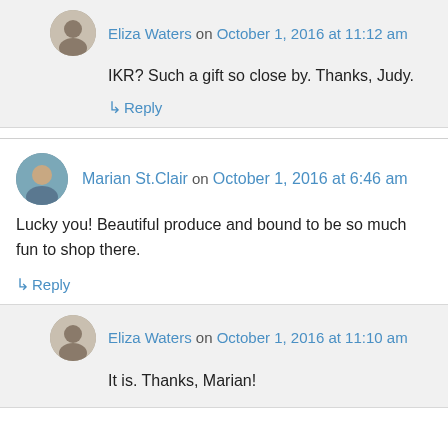Eliza Waters on October 1, 2016 at 11:12 am
IKR? Such a gift so close by. Thanks, Judy.
Reply
Marian St.Clair on October 1, 2016 at 6:46 am
Lucky you! Beautiful produce and bound to be so much fun to shop there.
Reply
Eliza Waters on October 1, 2016 at 11:10 am
It is. Thanks, Marian!